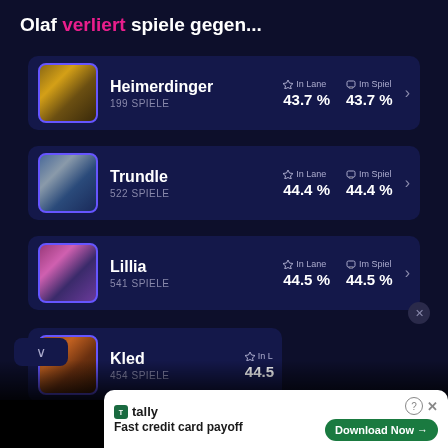Olaf verliert spiele gegen...
Heimerdinger 199 SPIELE In Lane 43.7 % Im Spiel 43.7 %
Trundle 522 SPIELE In Lane 44.4 % Im Spiel 44.4 %
Lillia 541 SPIELE In Lane 44.5 % Im Spiel 44.5 %
Kled 454 SPIELE In Lane 44.5
[Figure (screenshot): Advertisement bar: Tally - Fast credit card payoff with Download Now button]